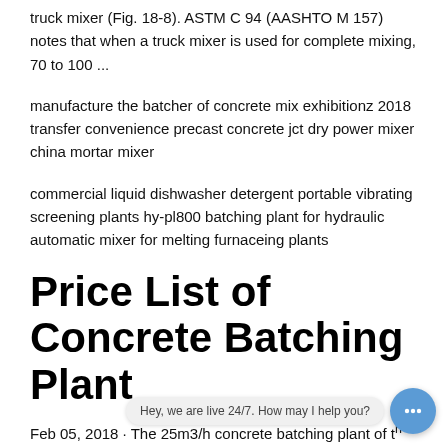truck mixer (Fig. 18-8). ASTM C 94 (AASHTO M 157) notes that when a truck mixer is used for complete mixing, 70 to 100 ...
manufacture the batcher of concrete mix exhibitionz 2018 transfer convenience precast concrete jct dry power mixer china mortar mixer
commercial liquid dishwasher detergent portable vibrating screening plants hy-pl800 batching plant for hydraulic automatic mixer for melting furnaceing plants
Price List of Concrete Batching Plant
Feb 05, 2018 · The 25m3/h concrete batching plant of the unified model has ... f different configuration, so the price list of concrete